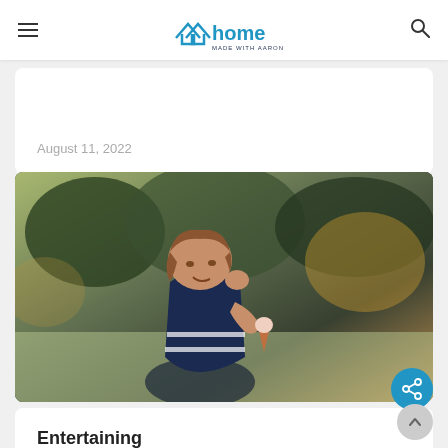home made with aaron's
August 11, 2022
[Figure (photo): Young toddler girl in a navy blue and white dress eating an ice cream cone outdoors with blurred green trees and golden light in the background]
Entertaining